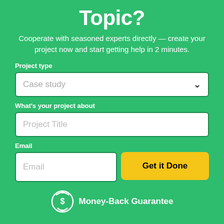Topic?
Cooperate with seasoned experts directly — create your project now and start getting help in 2 minutes.
Project type
Case study
What's your project about
Project Title
Email
Email
Get it Done
Money-Back Guarantee